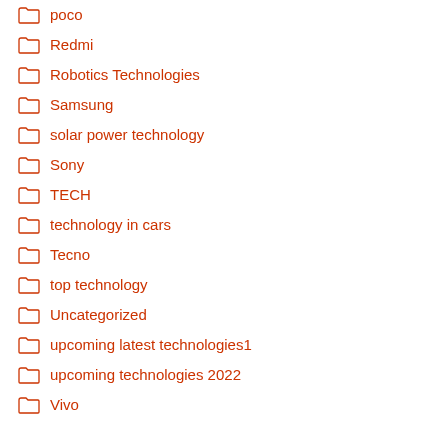poco
Redmi
Robotics Technologies
Samsung
solar power technology
Sony
TECH
technology in cars
Tecno
top technology
Uncategorized
upcoming latest technologies1
upcoming technologies 2022
Vivo